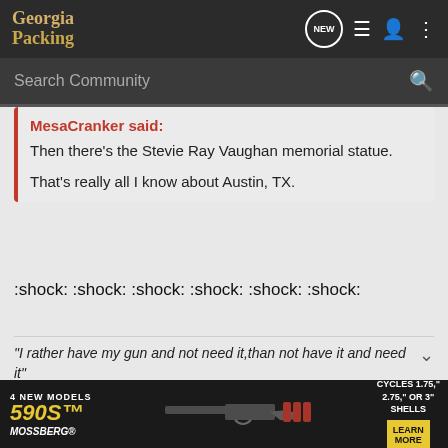Georgia Packing
Search Community
MesaCranker said:
Then there's the Stevie Ray Vaughan memorial statue.

That's really all I know about Austin, TX.
:shock: :shock: :shock: :shock: :shock: :shock:
"I rather have my gun and not need it,than not have it and need it"
[Figure (screenshot): Advertisement for Mossberg 590S shotgun. Text reads: 4 NEW MODELS, 590S, MOSSBERG, CYCLES 1.75" 2.75" OR 3" SHELLS, LEARN MORE]